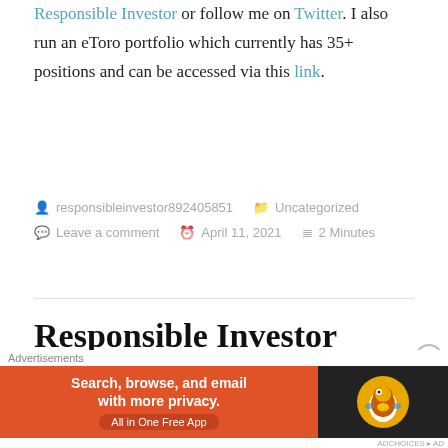Responsible Investor or follow me on Twitter. I also run an eToro portfolio which currently has 35+ positions and can be accessed via this link.
responsibleinvestor892405851  Uncategorized  Leave a comment  April 11, 2021  2 Minutes
Responsible Investor Portfolio Weekly Update, April 3rd, 2021 | $TCEHY
[Figure (screenshot): DuckDuckGo advertisement banner: orange left panel with text 'Search, browse, and email with more privacy. All in One Free App', dark right panel with DuckDuckGo logo]